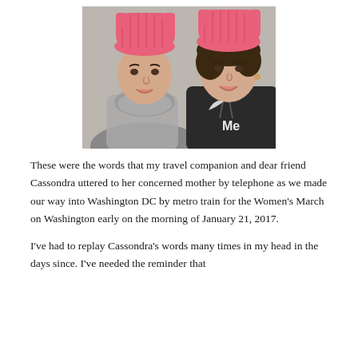[Figure (photo): Two women taking a selfie, both wearing pink knit hats (pussy hats). The woman on the left wears a grey scarf, the woman on the right wears a dark hoodie with partial text visible.]
These were the words that my travel companion and dear friend Cassondra uttered to her concerned mother by telephone as we made our way into Washington DC by metro train for the Women's March on Washington early on the morning of January 21, 2017.
I've had to replay Cassondra's words many times in my head in the days since. I've needed the reminder that